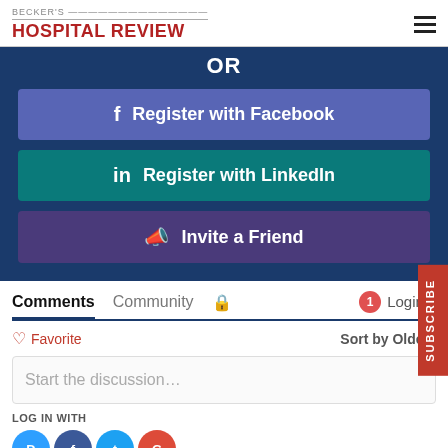BECKER'S HOSPITAL REVIEW
OR
Register with Facebook
Register with LinkedIn
Invite a Friend
Comments
Community
Favorite  Sort by Oldest
Start the discussion…
LOG IN WITH
SUBSCRIBE